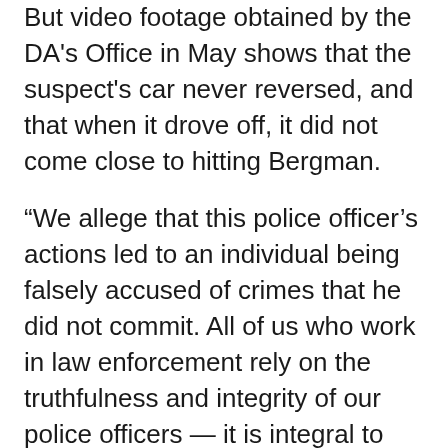But video footage obtained by the DA's Office in May shows that the suspect's car never reversed, and that when it drove off, it did not come close to hitting Bergman.
“We allege that this police officer’s actions led to an individual being falsely accused of crimes that he did not commit. All of us who work in law enforcement rely on the truthfulness and integrity of our police officers — it is integral to our commitment to safety and equal justice. We will now seek to hold this officer accountable,” said Brooklyn DA Eric Gonzalez in a statement.
Bergman was arraigned Wednesday in front of Supreme Court Justice Danny Chun. He arrived in court surrounded by cops and members of the Patrolmen’s